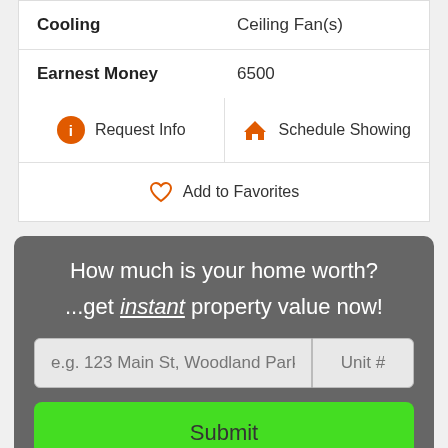| Cooling | Ceiling Fan(s) |
| Earnest Money | 6500 |
Request Info
Schedule Showing
Add to Favorites
How much is your home worth? ...get instant property value now!
e.g. 123 Main St, Woodland Park, CO
Unit #
Submit